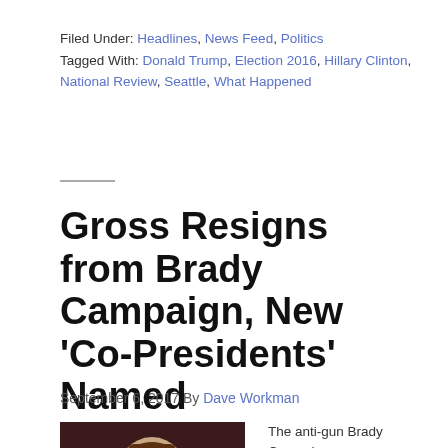Filed Under: Headlines, News Feed, Politics
Tagged With: Donald Trump, Election 2016, Hillary Clinton, National Review, Seattle, What Happened
Gross Resigns from Brady Campaign, New 'Co-Presidents' Named
September 6, 2017 By Dave Workman
[Figure (photo): Headshot photo of a person against a dark red/brown background]
The anti-gun Brady Campaign...